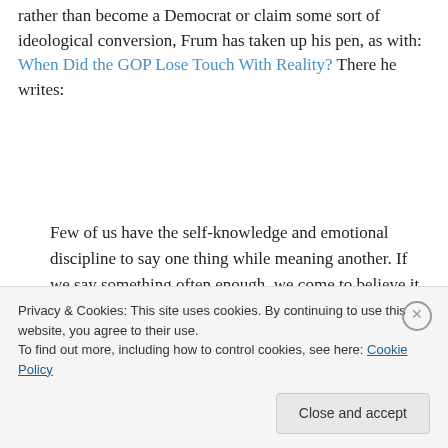rather than become a Democrat or claim some sort of ideological conversion, Frum has taken up his pen, as with: When Did the GOP Lose Touch With Reality? There he writes:
Few of us have the self-knowledge and emotional discipline to say one thing while meaning another. If we say something often enough, we come to believe it. We don't usually delude others until after we have
Privacy & Cookies: This site uses cookies. By continuing to use this website, you agree to their use. To find out more, including how to control cookies, see here: Cookie Policy